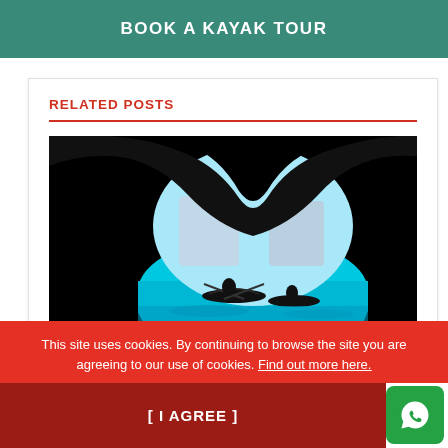BOOK A KAYAK TOUR
RELATED POSTS
[Figure (photo): Silhouette of kayakers inside a sea cave looking out toward bright turquoise water and coastal cliffs]
This site uses cookies. By continuing to browse the site you are agreeing to our use of cookies. Find out more here.
[ I AGREE ]